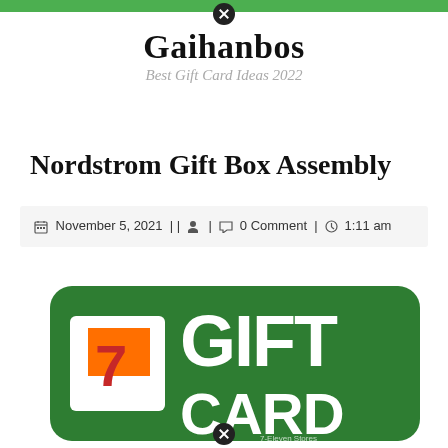Gaihanbos — Best Gift Card Ideas 2022
Nordstrom Gift Box Assembly
November 5, 2021 || [user icon] | [comment icon] 0 Comment | [clock icon] 1:11 am
[Figure (photo): 7-Eleven Gift Card on a green background with white text reading GIFT CARD, featuring the 7-Eleven logo (orange and red 7 with ELEVEN below). Bottom text reads 7-Eleven Stores.]